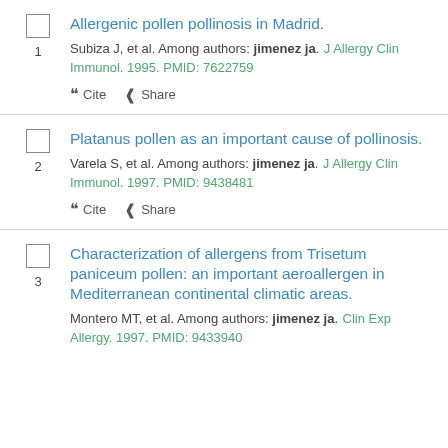1. Allergenic pollen pollinosis in Madrid. Subiza J, et al. Among authors: jimenez ja. J Allergy Clin Immunol. 1995. PMID: 7622759
2. Platanus pollen as an important cause of pollinosis. Varela S, et al. Among authors: jimenez ja. J Allergy Clin Immunol. 1997. PMID: 9438481
3. Characterization of allergens from Trisetum paniceum pollen: an important aeroallergen in Mediterranean continental climatic areas. Montero MT, et al. Among authors: jimenez ja. Clin Exp Allergy. 1997. PMID: 9433940